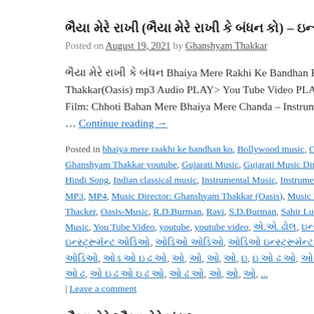ભૈયા મેરે રાખી (ભૈયા મેરે રાખી કે બંધન કો) – ઇન્સ્ટ્રૂ...
Posted on August 19, 2021 by Ghanshyam Thakkar
ભૈયા મેરે રાખી કે બંધન Bhaiya Mere Rakhi Ke Bandhan Ko Instru... Thakkar(Oasis) mp3 Audio PLAY> You Tube Video PLAY> Or... Film: Chhoti Bahan Mere Bhaiya Mere Chanda – Instrumental M... … Continue reading →
Posted in bhaiya mere raakhi ke bandhan ko, Bollywood music, Ghanshyam... Ghanshyam Thakkar youtube, Gujarati Music, Gujarati Music Director Ghans... Hindi Song, Indian classical music, Instrumental Music, Instrumental Remix, M... MP3, MP4, Music Director: Ghanshyam Thakkar (Oasis), Music Director: Gha... Thacker, Oasis-Music, R.D.Burman, Ravi, S.D.Burman, Sahir Ludhianvi, Sa... Music, You Tube Video, youtube, youtube video, … | Leave a comment
ભૈયા મેરે [ભૈયા મેરે ચંદા] – ઇ...